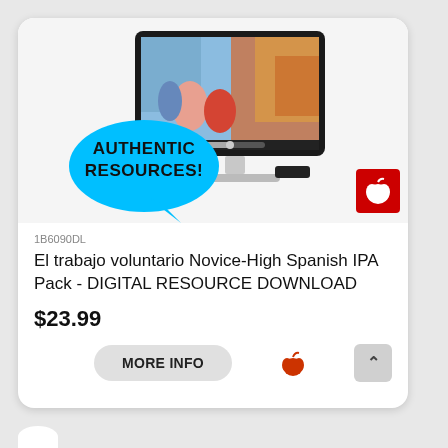[Figure (screenshot): Product listing card showing a desktop monitor displaying children playing, with a blue speech bubble overlay reading 'AUTHENTIC RESOURCES!' and a red apple logo badge in the bottom right corner.]
1B6090DL
El trabajo voluntario Novice-High Spanish IPA Pack - DIGITAL RESOURCE DOWNLOAD
$23.99
MORE INFO